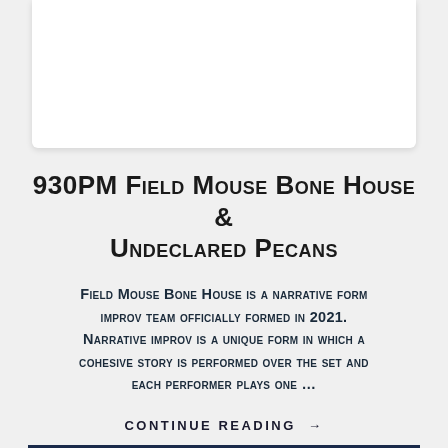[Figure (other): White card element at top of page, partially visible]
930PM Field Mouse Bone House & Undeclared Pecans
Field Mouse Bone House is a narrative form improv team officially formed in 2021. Narrative improv is a unique form in which a cohesive story is performed over the set and each performer plays one …
CONTINUE READING →